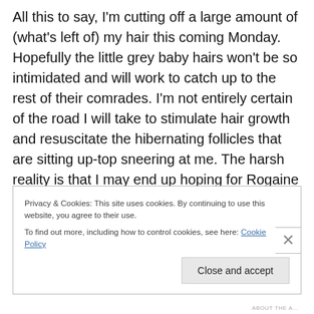All this to say, I'm cutting off a large amount of (what's left of) my hair this coming Monday. Hopefully the little grey baby hairs won't be so intimidated and will work to catch up to the rest of their comrades. I'm not entirely certain of the road I will take to stimulate hair growth and resuscitate the hibernating follicles that are sitting up-top sneering at me. The harsh reality is that I may end up hoping for Rogaine in my stocking. If I really get desperate enough, I may try some oils and even a sugar scrub.
Privacy & Cookies: This site uses cookies. By continuing to use this website, you agree to their use. To find out more, including how to control cookies, see here: Cookie Policy